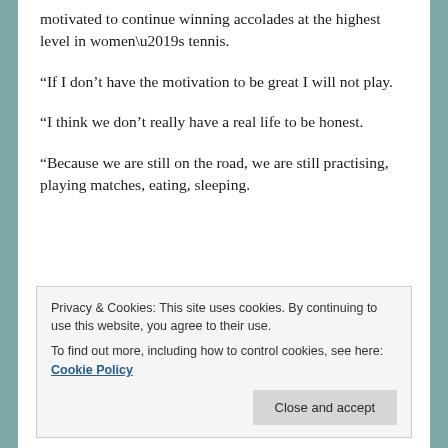motivated to continue winning accolades at the highest level in women’s tennis.
“If I don’t have the motivation to be great I will not play.
“I think we don’t really have a real life to be honest.
“Because we are still on the road, we are still practising, playing matches, eating, sleeping.
Privacy & Cookies: This site uses cookies. By continuing to use this website, you agree to their use.
To find out more, including how to control cookies, see here: Cookie Policy
Close and accept